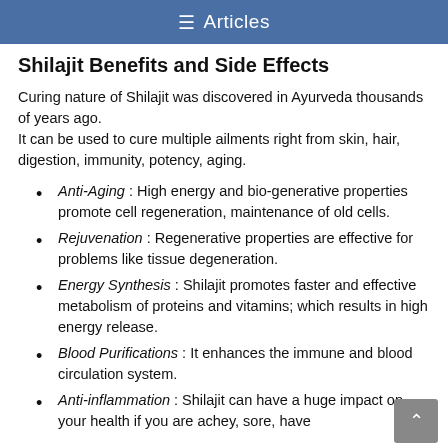≡ Articles
Shilajit Benefits and Side Effects
Curing nature of Shilajit was discovered in Ayurveda thousands of years ago.
It can be used to cure multiple ailments right from skin, hair, digestion, immunity, potency, aging.
Anti-Aging : High energy and bio-generative properties promote cell regeneration, maintenance of old cells.
Rejuvenation : Regenerative properties are effective for problems like tissue degeneration.
Energy Synthesis : Shilajit promotes faster and effective metabolism of proteins and vitamins; which results in high energy release.
Blood Purifications : It enhances the immune and blood circulation system.
Anti-inflammation : Shilajit can have a huge impact on your health if you are achey, sore, have